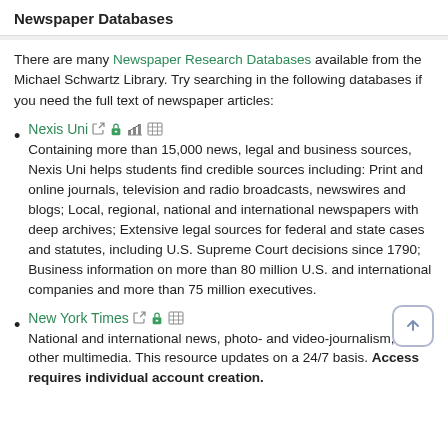Newspaper Databases
There are many Newspaper Research Databases available from the Michael Schwartz Library. Try searching in the following databases if you need the full text of newspaper articles:
Nexis Uni — Containing more than 15,000 news, legal and business sources, Nexis Uni helps students find credible sources including: Print and online journals, television and radio broadcasts, newswires and blogs; Local, regional, national and international newspapers with deep archives; Extensive legal sources for federal and state cases and statutes, including U.S. Supreme Court decisions since 1790; Business information on more than 80 million U.S. and international companies and more than 75 million executives.
New York Times — National and international news, photo- and video-journalism, and other multimedia. This resource updates on a 24/7 basis. Access requires individual account creation.